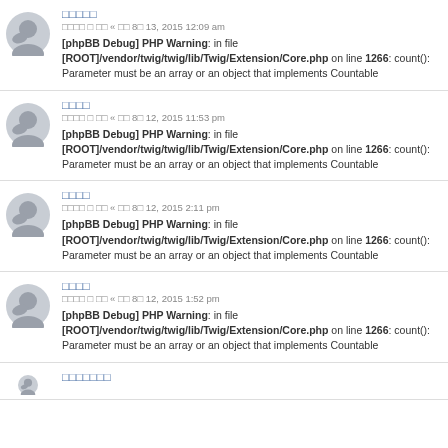□□□□□
□□□□ □ □□ « □□ 8□ 13, 2015 12:09 am
[phpBB Debug] PHP Warning: in file [ROOT]/vendor/twig/twig/lib/Twig/Extension/Core.php on line 1266: count(): Parameter must be an array or an object that implements Countable
□□□□
□□□□ □ □□ « □□ 8□ 12, 2015 11:53 pm
[phpBB Debug] PHP Warning: in file [ROOT]/vendor/twig/twig/lib/Twig/Extension/Core.php on line 1266: count(): Parameter must be an array or an object that implements Countable
□□□□
□□□□ □ □□ « □□ 8□ 12, 2015 2:11 pm
[phpBB Debug] PHP Warning: in file [ROOT]/vendor/twig/twig/lib/Twig/Extension/Core.php on line 1266: count(): Parameter must be an array or an object that implements Countable
□□□□
□□□□ □ □□ « □□ 8□ 12, 2015 1:52 pm
[phpBB Debug] PHP Warning: in file [ROOT]/vendor/twig/twig/lib/Twig/Extension/Core.php on line 1266: count(): Parameter must be an array or an object that implements Countable